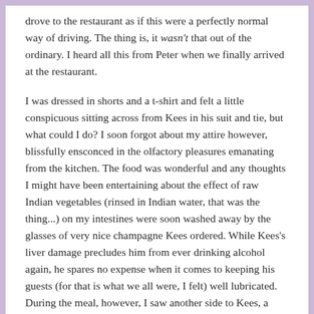drove to the restaurant as if this were a perfectly normal way of driving. The thing is, it wasn't that out of the ordinary. I heard all this from Peter when we finally arrived at the restaurant.
I was dressed in shorts and a t-shirt and felt a little conspicuous sitting across from Kees in his suit and tie, but what could I do? I soon forgot about my attire however, blissfully ensconced in the olfactory pleasures emanating from the kitchen. The food was wonderful and any thoughts I might have been entertaining about the effect of raw Indian vegetables (rinsed in Indian water, that was the thing...) on my intestines were soon washed away by the glasses of very nice champagne Kees ordered. While Kees's liver damage precludes him from ever drinking alcohol again, he spares no expense when it comes to keeping his guests (for that is what we all were, I felt) well lubricated. During the meal, however, I saw another side to Kees, a flip-side to those mischievous